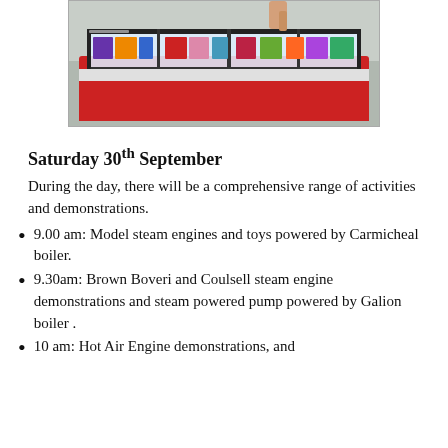[Figure (photo): Photo of a red Liebherr commercial freezer display unit with glass top, showing colorful product packages inside. A person's hand is visible touching the glass.]
Saturday 30th September
During the day, there will be a comprehensive range of activities and demonstrations.
9.00 am: Model steam engines and toys powered by Carmicheal boiler.
9.30am: Brown Boveri and Coulsell steam engine demonstrations and steam powered pump powered by Galion boiler .
10 am: Hot Air Engine demonstrations, and ...